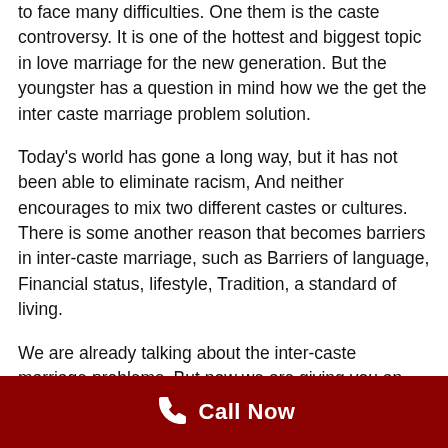to face many difficulties. One them is the caste controversy. It is one of the hottest and biggest topic in love marriage for the new generation. But the youngster has a question in mind how we the get the inter caste marriage problem solution.
Today's world has gone a long way, but it has not been able to eliminate racism, And neither encourages to mix two different castes or cultures. There is some another reason that becomes barriers in inter-caste marriage, such as Barriers of language, Financial status, lifestyle, Tradition, a standard of living.
We are already talking about the inter-caste marriage problems. But now we are giving you an information for the best solution of inter-caste
[Figure (infographic): Dark red footer bar with a white phone handset icon and white bold text reading 'Call Now']